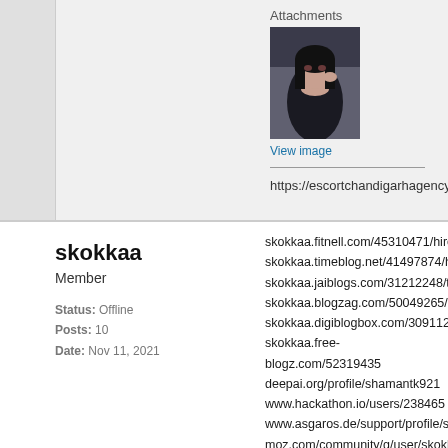Attachments
[Figure (photo): Thumbnail photo of a young woman with dark hair wearing a black outfit, posing with hand near face]
View image
https://escortchandigarhagency.in/
skokkaa
Member
Status: Offline
Posts: 10
Date: Nov 11, 2021
skokkaa.fitnell.com/45310471/hire-
skokkaa.timeblog.net/41497874/hy
skokkaa.jaiblogs.com/31212248/to
skokkaa.blogzag.com/50049265/to
skokkaa.digiblogbox.com/3091121
skokkaa.free-blogz.com/52319435
deepai.org/profile/shamantk921
www.hackathon.io/users/238465
www.asgaros.de/support/profile/sk
moz.com/community/q/user/skokka
qna.habr.com/user/skokkaaa
calis.delfi.lv/profils/lietotajs/246419
www.doyoubuzz.com/skokkaa-sko
www.fimfiction.net/user/462800/sk
forum.prusaprinters.org/forum/prof